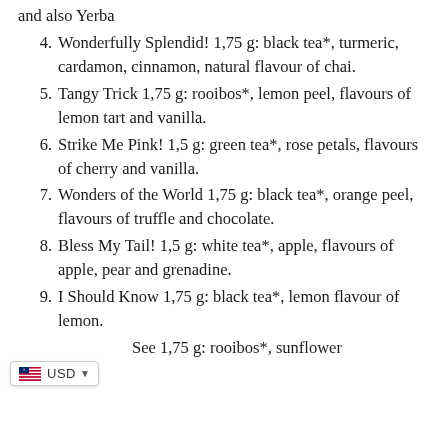(continuation) and also Yerba
4. Wonderfully Splendid! 1,75 g: black tea*, turmeric, cardamon, cinnamon, natural flavour of chai.
5. Tangy Trick 1,75 g: rooibos*, lemon peel, flavours of lemon tart and vanilla.
6. Strike Me Pink! 1,5 g: green tea*, rose petals, flavours of cherry and vanilla.
7. Wonders of the World 1,75 g: black tea*, orange peel, flavours of truffle and chocolate.
8. Bless My Tail! 1,5 g: white tea*, apple, flavours of apple, pear and grenadine.
9. I Should Know 1,75 g: black tea*, lemon flavour of lemon.
10. (partial) See 1,75 g: rooibos*, sunflower